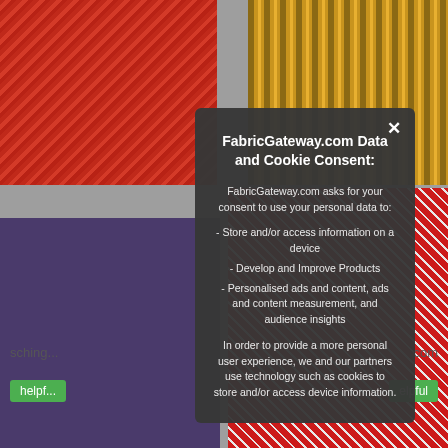[Figure (screenshot): Background showing a website with fabric texture images (red diagonal weave top-left, gold/brown stripes top-right, purple fabric bottom-left, red and white pattern bottom-right), with partial text labels 'sching...' and '.com', and green 'helpf...' and 'elpful' buttons]
FabricGateway.com Data and Cookie Consent:
FabricGateway.com asks for your consent to use your personal data to:
- Store and/or access information on a device
- Develop and Improve Products
- Personalised ads and content, ads and content measurement, and audience insights
In order to provide a more personal user experience, we and our partners use technology such as cookies to store and/or access device information.